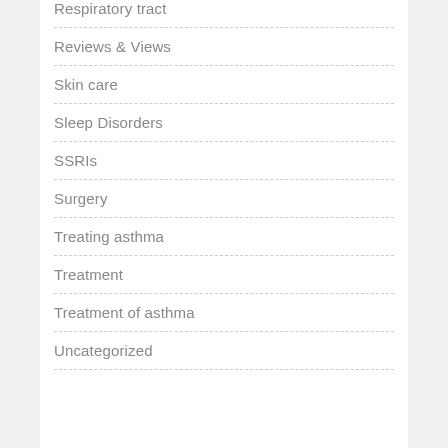Respiratory tract
Reviews & Views
Skin care
Sleep Disorders
SSRIs
Surgery
Treating asthma
Treatment
Treatment of asthma
Uncategorized